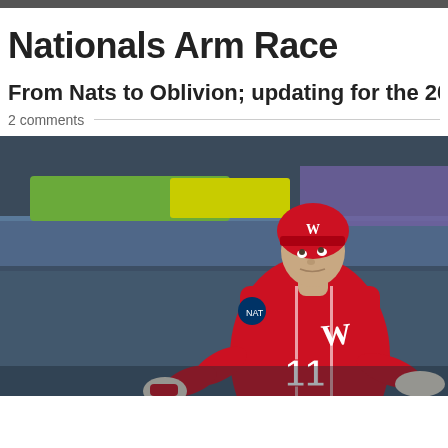Nationals Arm Race
From Nats to Oblivion; updating for the 2019, 2...
2 comments
[Figure (photo): Washington Nationals baseball player wearing red uniform number 11 and red helmet with W logo, looking up, holding bat, standing in stadium]